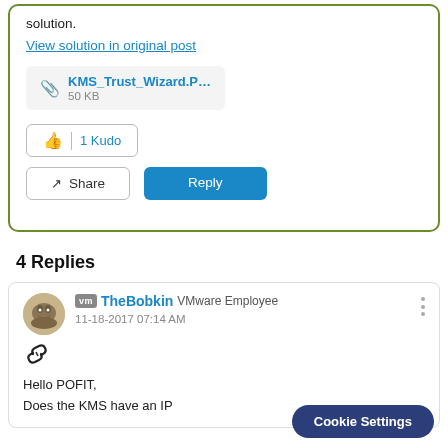solution.
View solution in original post
KMS_Trust_Wizard.P... 50 KB
1 Kudo
Share
Reply
4 Replies
TheBobkin VMware Employee 11-18-2017 07:14 AM
Hello POFIT,
Does the KMS have an IP
Cookie Settings